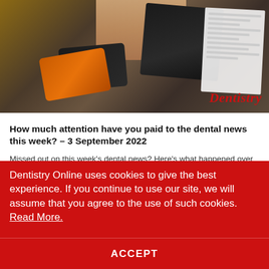[Figure (photo): Photo of a person pulling credit cards from a wallet on a wooden table, with receipts visible. Dentistry logo in bottom right.]
How much attention have you paid to the dental news this week? – 3 September 2022
Missed out on this week's dental news? Here's what happened over the past seven days... Will the cost of living...
1d | Dentistry
Dentistry Online uses cookies to give the best experience. If you continue to use our site, we will assume that you agree to the use of such cookies. Read More.
ACCEPT